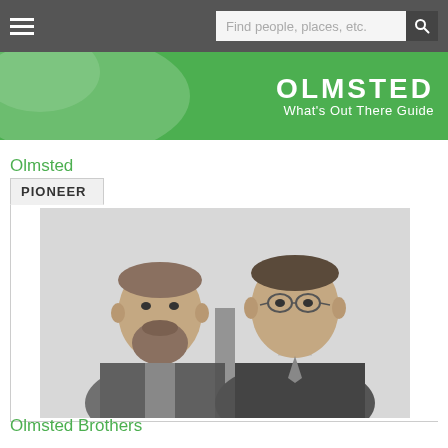Find people, places, etc.
[Figure (photo): Green banner with OLMSTED What's Out There Guide text and decorative white leaf/map shape]
Olmsted
PIONEER
[Figure (photo): Black and white photograph of the Olmsted Brothers — two men in formal attire, one with a beard on the left and one with glasses on the right]
Olmsted Brothers